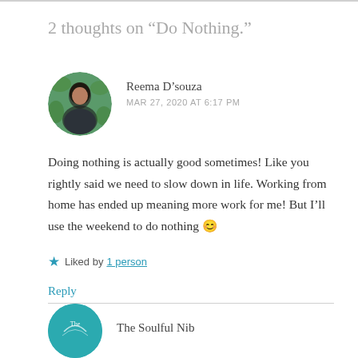2 thoughts on “Do Nothing.”
[Figure (photo): Circular avatar photo of Reema D'souza, a woman with dark hair, outdoors with green background]
Reema D'souza
MAR 27, 2020 AT 6:17 PM
Doing nothing is actually good sometimes! Like you rightly said we need to slow down in life. Working from home has ended up meaning more work for me! But I’ll use the weekend to do nothing 😊
★ Liked by 1 person
Reply
[Figure (logo): Circular teal logo for The Soulful Nib]
The Soulful Nib